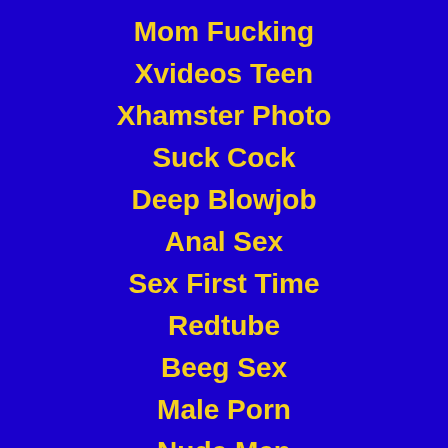Mom Fucking
Xvideos Teen
Xhamster Photo
Suck Cock
Deep Blowjob
Anal Sex
Sex First Time
Redtube
Beeg Sex
Male Porn
Nude Men
Celebrity Sex
Outdoor Sex